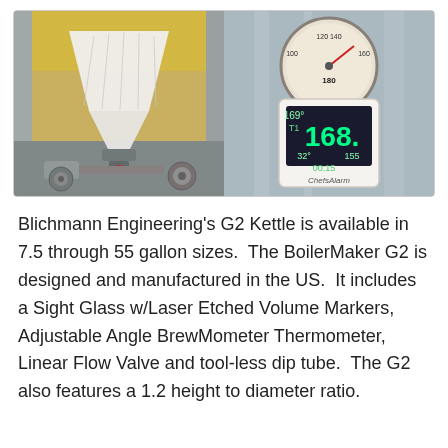[Figure (photo): Two side-by-side photos: left shows a brewing kettle with a white mesh bag filtering liquid through a valve/fitting assembly; right shows a ChefsAlarm digital thermometer displaying 168°F placed against a stainless steel brewing kettle with an analog thermometer gauge visible in the background.]
Blichmann Engineering's G2 Kettle is available in 7.5 through 55 gallon sizes.  The BoilerMaker G2 is designed and manufactured in the US.  It includes a Sight Glass w/Laser Etched Volume Markers, Adjustable Angle BrewMometer Thermometer, Linear Flow Valve and tool-less dip tube.  The G2 also features a 1.2 height to diameter ratio.